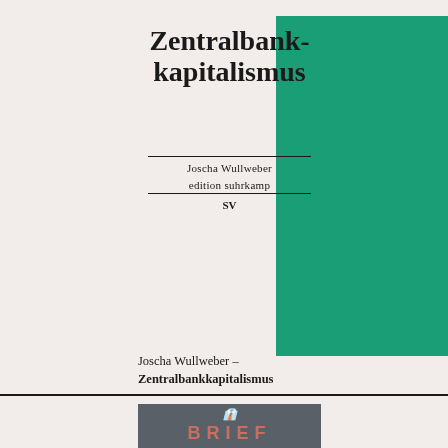[Figure (illustration): Book cover of 'Zentralbankkapitalismus' by Joscha Wullweber, edition suhrkamp, SV. Teal/green background with black serif title text and horizontal dividers.]
Joscha Wullweber –
Zentralbankkapitalismus
[Figure (illustration): Partial book cover with dark gray background showing a decorative script letter and the word 'BRIEF' in large salmon/red capital letters.]